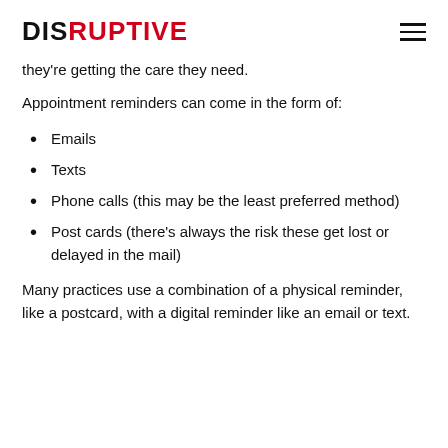DISRUPTIVE
they're getting the care they need.
Appointment reminders can come in the form of:
Emails
Texts
Phone calls (this may be the least preferred method)
Post cards (there's always the risk these get lost or delayed in the mail)
Many practices use a combination of a physical reminder, like a postcard, with a digital reminder like an email or text.